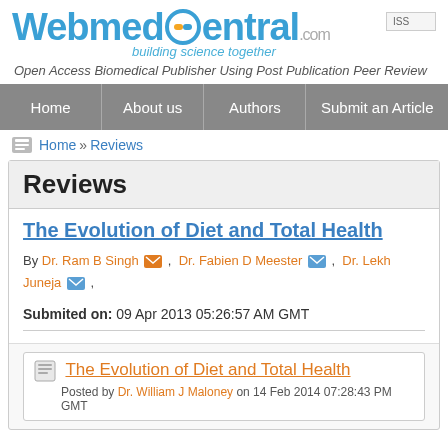[Figure (logo): WebmedCentral logo with pill graphic and tagline 'building science together']
Open Access Biomedical Publisher Using Post Publication Peer Review
Home | About us | Authors | Submit an Article
Home » Reviews
Reviews
The Evolution of Diet and Total Health
By Dr. Ram B Singh, Dr. Fabien D Meester, Dr. Lekh Juneja,
Submited on: 09 Apr 2013 05:26:57 AM GMT
The Evolution of Diet and Total Health
Posted by Dr. William J Maloney on 14 Feb 2014 07:28:43 PM GMT